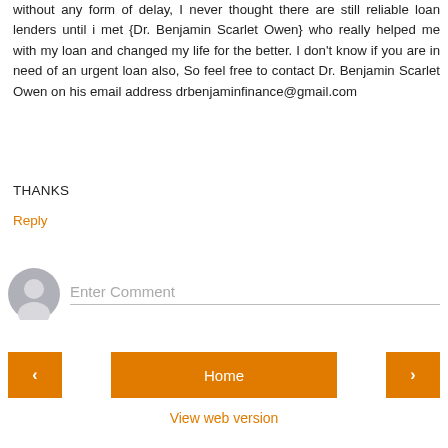without any form of delay, I never thought there are still reliable loan lenders until i met {Dr. Benjamin Scarlet Owen} who really helped me with my loan and changed my life for the better. I don't know if you are in need of an urgent loan also, So feel free to contact Dr. Benjamin Scarlet Owen on his email address drbenjaminfinance@gmail.com
THANKS
Reply
[Figure (illustration): Default user avatar icon — grey silhouette of a person on a light grey circular background]
Enter Comment
< Home >
View web version